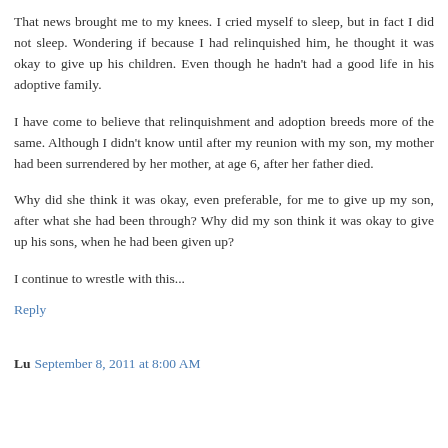That news brought me to my knees. I cried myself to sleep, but in fact I did not sleep. Wondering if because I had relinquished him, he thought it was okay to give up his children. Even though he hadn't had a good life in his adoptive family.
I have come to believe that relinquishment and adoption breeds more of the same. Although I didn't know until after my reunion with my son, my mother had been surrendered by her mother, at age 6, after her father died.
Why did she think it was okay, even preferable, for me to give up my son, after what she had been through? Why did my son think it was okay to give up his sons, when he had been given up?
I continue to wrestle with this...
Reply
Lu September 8, 2011 at 8:00 AM